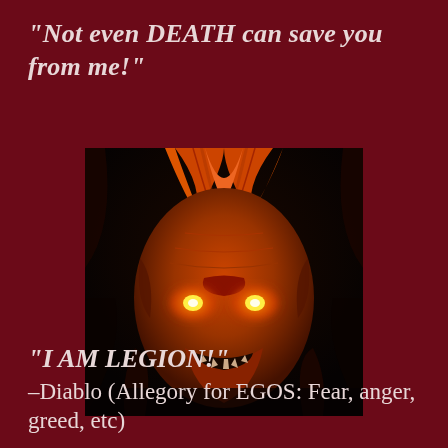“Not even DEATH can save you from me!”
[Figure (illustration): Close-up digital painting of Diablo, a demonic creature with glowing orange eyes, red and orange scaly skin, horns, and a menacing grin against a dark background]
“I AM LEGION!” –Diablo (Allegory for EGOS: Fear, anger, greed, etc)